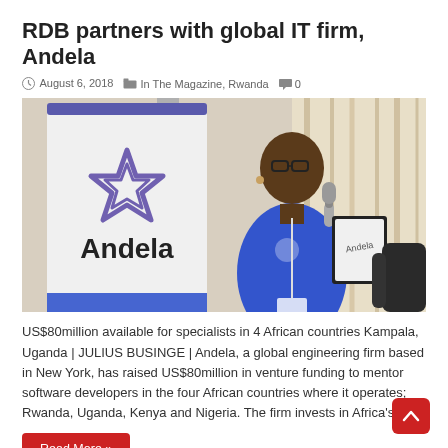RDB partners with global IT firm, Andela
© August 6, 2018   ▪ In The Magazine, Rwanda   💬 0
[Figure (photo): A person in a blue Andela t-shirt stands at a microphone holding a clipboard, next to an Andela branded banner/rollup display showing the Andela logo and name.]
US$80million available for specialists in 4 African countries Kampala, Uganda | JULIUS BUSINGE | Andela, a global engineering firm based in New York, has raised US$80million in venture funding to mentor software developers in the four African countries where it operates; Rwanda, Uganda, Kenya and Nigeria. The firm invests in Africa's …
Read More »